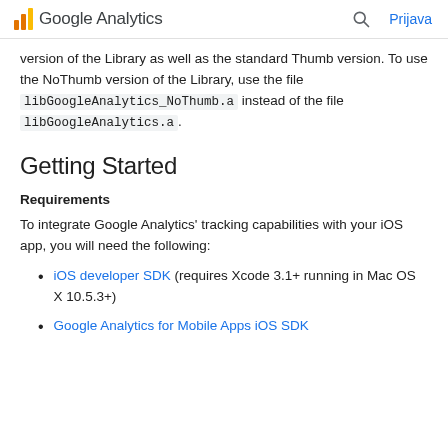Google Analytics  Prijava
version of the Library as well as the standard Thumb version. To use the NoThumb version of the Library, use the file libGoogleAnalytics_NoThumb.a instead of the file libGoogleAnalytics.a.
Getting Started
Requirements
To integrate Google Analytics' tracking capabilities with your iOS app, you will need the following:
iOS developer SDK (requires Xcode 3.1+ running in Mac OS X 10.5.3+)
Google Analytics for Mobile Apps iOS SDK